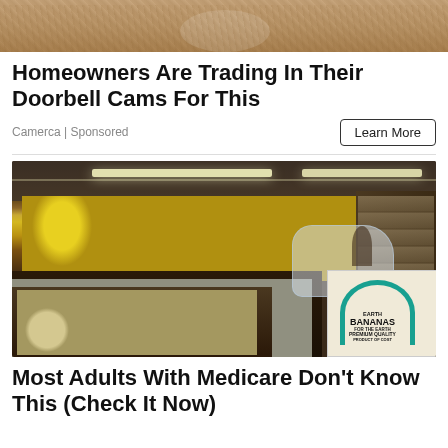[Figure (photo): Top portion of a photo, appears to show sandy/rocky surface with an object, cropped]
Homeowners Are Trading In Their Doorbell Cams For This
Camerca | Sponsored
Learn More
[Figure (photo): Interior of a grocery store produce section with bananas hanging overhead, melons on display, a box labeled Earth Bananas Premium Quality, and store shelves in the background]
Most Adults With Medicare Don't Know This (Check It Now)